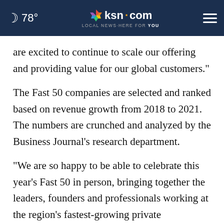78° | ksn.com LOCAL NEWS·HERE FOR YOU
are excited to continue to scale our offering and providing value for our global customers."
The Fast 50 companies are selected and ranked based on revenue growth from 2018 to 2021. The numbers are crunched and analyzed by the Business Journal's research department.
"We are so happy to be able to celebrate this year's Fast 50 in person, bringing together the leaders, founders and professionals working at the region's fastest-growing private